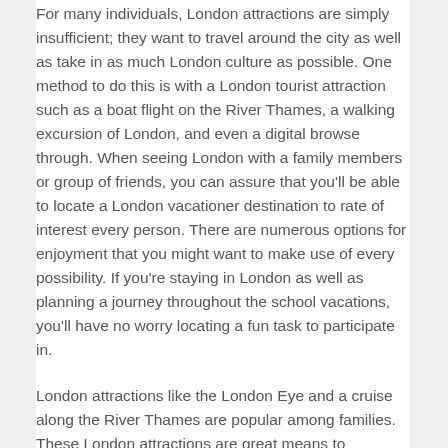For many individuals, London attractions are simply insufficient; they want to travel around the city as well as take in as much London culture as possible. One method to do this is with a London tourist attraction such as a boat flight on the River Thames, a walking excursion of London, and even a digital browse through. When seeing London with a family members or group of friends, you can assure that you'll be able to locate a London vacationer destination to rate of interest every person. There are numerous options for enjoyment that you might want to make use of every possibility. If you're staying in London as well as planning a journey throughout the school vacations, you'll have no worry locating a fun task to participate in.
London attractions like the London Eye and a cruise along the River Thames are popular among families. These London attractions are great means to experience London's one-of-a-kind society. To get a taste of what the English people experience in their day-to-day lives, stroll tour of London with a hired